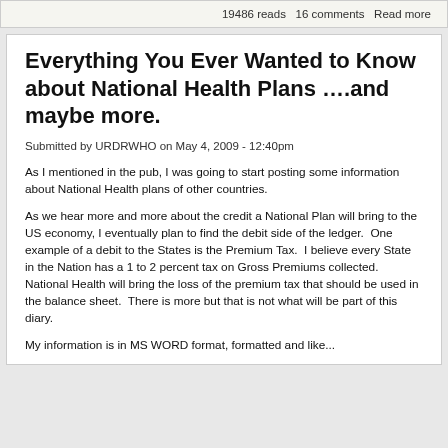19486 reads  16 comments  Read more
Everything You Ever Wanted to Know about National Health Plans ….and maybe more.
Submitted by URDRWHO on May 4, 2009 - 12:40pm
As I mentioned in the pub, I was going to start posting some information about National Health plans of other countries.
As we hear more and more about the credit a National Plan will bring to the US economy, I eventually plan to find the debit side of the ledger.  One example of a debit to the States is the Premium Tax.  I believe every State in the Nation has a 1 to 2 percent tax on Gross Premiums collected.  National Health will bring the loss of the premium tax that should be used in the balance sheet.  There is more but that is not what will be part of this diary.
My information is in MS WORD format, formatted and like...